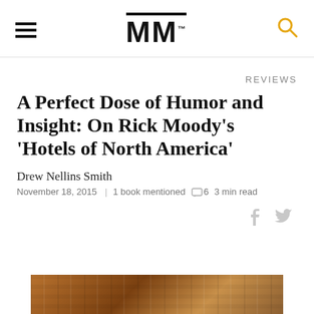MM
REVIEWS
A Perfect Dose of Humor and Insight: On Rick Moody's 'Hotels of North America'
Drew Nellins Smith
November 18, 2015  |  1 book mentioned  6  3 min read
[Figure (photo): Wood grain texture photo strip at the bottom of the page]